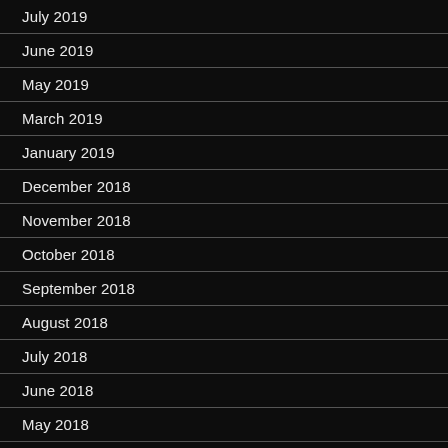July 2019
June 2019
May 2019
March 2019
January 2019
December 2018
November 2018
October 2018
September 2018
August 2018
July 2018
June 2018
May 2018